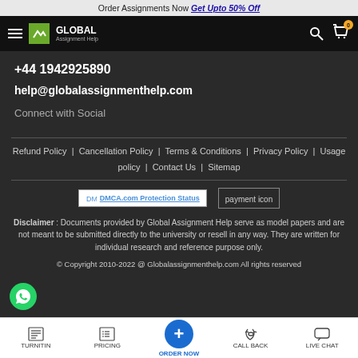Order Assignments Now Get Upto 50% Off
[Figure (logo): Global Assignment Help navigation bar with hamburger menu, logo, search and cart icons]
+44 1942925890
help@globalassignmenthelp.com
Connect with Social
Refund Policy | Cancellation Policy | Terms & Conditions | Privacy Policy | Usage policy | Contact Us | Sitemap
[Figure (other): DMCA.com Protection Status badge and payment icon]
Disclaimer : Documents provided by Global Assignment Help serve as model papers and are not meant to be submitted directly to the university or resell in any way. They are written for individual research and reference purpose only.
© Copyright 2010-2022 @ Globalassignmenthelp.com All rights reserved
[Figure (screenshot): Bottom navigation bar with TURNITIN, PRICING, ORDER NOW, CALL BACK, LIVE CHAT icons]